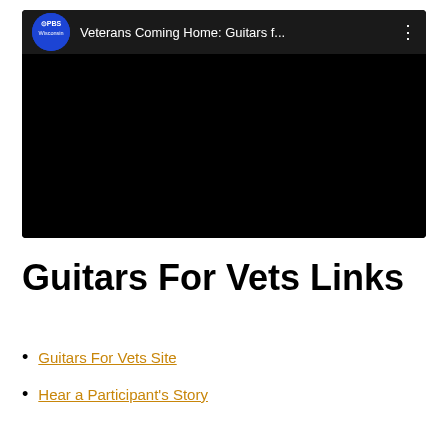[Figure (screenshot): Embedded YouTube-style video player showing PBS Wisconsin channel playing 'Veterans Coming Home: Guitars f...' with a black video frame and PBS Wisconsin circular logo]
Guitars For Vets Links
Guitars For Vets Site
Hear a Participant's Story